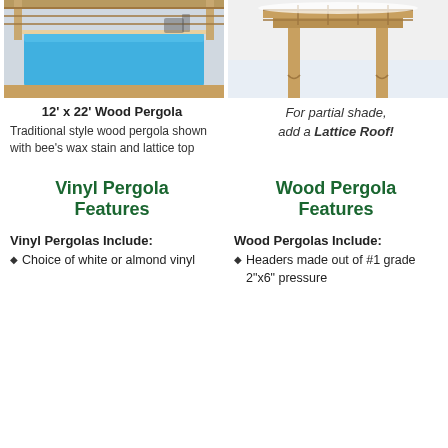[Figure (photo): Photo of a 12' x 22' wood pergola over a swimming pool with bee's wax stain and lattice top]
12' x 22' Wood Pergola
Traditional style wood pergola shown with bee's wax stain and lattice top
[Figure (photo): Photo of a wood pergola with lattice roof against snowy background]
For partial shade, add a Lattice Roof!
Vinyl Pergola Features
Wood Pergola Features
Vinyl Pergolas Include:
Choice of white or almond vinyl
Wood Pergolas Include:
Headers made out of #1 grade 2"x6" pressure